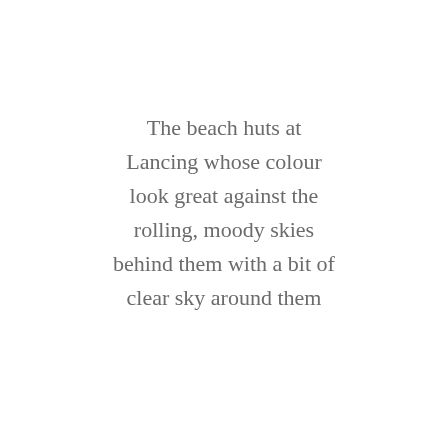The beach huts at Lancing whose colour look great against the rolling, moody skies behind them with a bit of clear sky around them